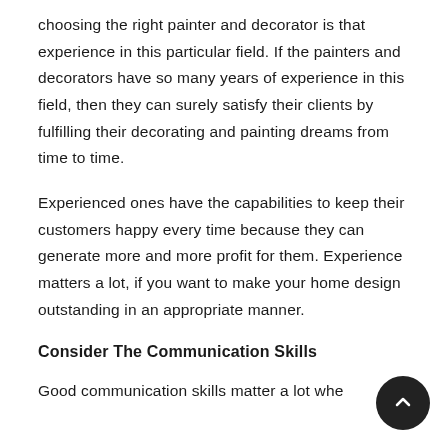choosing the right painter and decorator is that experience in this particular field. If the painters and decorators have so many years of experience in this field, then they can surely satisfy their clients by fulfilling their decorating and painting dreams from time to time.
Experienced ones have the capabilities to keep their customers happy every time because they can generate more and more profit for them. Experience matters a lot, if you want to make your home design outstanding in an appropriate manner.
Consider The Communication Skills
Good communication skills matter a lot when